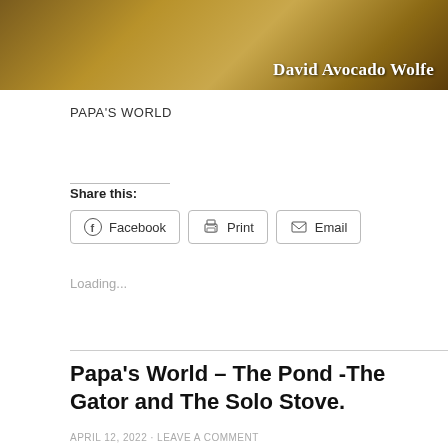[Figure (photo): Banner image with sandy/earthy brown textured background. Text 'David Avocado Wolfe' appears in white bold font at lower right.]
PAPA'S WORLD
Share this:
Facebook
Print
Email
Loading...
Papa's World – The Pond -The Gator and The Solo Stove.
APRIL 12, 2022 · LEAVE A COMMENT